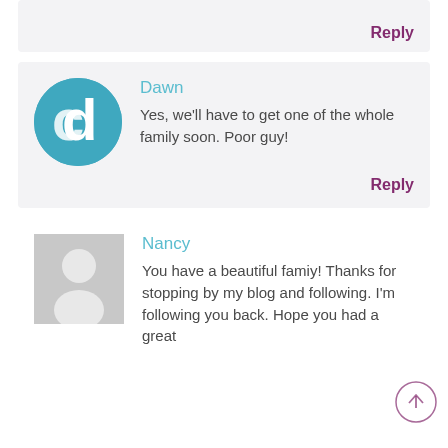Reply
[Figure (illustration): Avatar circle with teal background and white 'd' logo for user Dawn]
Dawn
Yes, we'll have to get one of the whole family soon. Poor guy!
Reply
[Figure (illustration): Generic gray placeholder avatar silhouette for user Nancy]
Nancy
You have a beautiful famiy! Thanks for stopping by my blog and following. I'm following you back. Hope you had a great